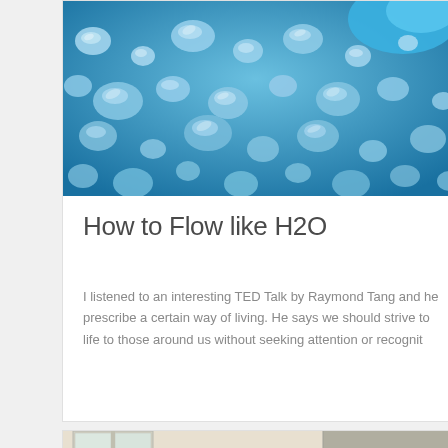[Figure (photo): Blue water droplets background image at the top of an article card]
How to Flow like H2O
I listened to an interesting TED Talk by Raymond Tang and he prescribe a certain way of living. He says we should strive to life to those around us without seeking attention or recognit
[Figure (photo): Bottom card showing a cafe or shop exterior with plants and a circular logo sign]